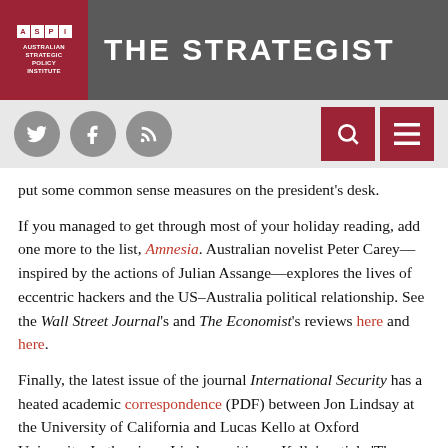THE STRATEGIST — Australian Strategic Policy Institute
put some common sense measures on the president's desk.
If you managed to get through most of your holiday reading, add one more to the list, Amnesia. Australian novelist Peter Carey—inspired by the actions of Julian Assange—explores the lives of eccentric hackers and the US–Australia political relationship. See the Wall Street Journal's and The Economist's reviews here and here.
Finally, the latest issue of the journal International Security has a heated academic correspondence (PDF) between Jon Lindsay at the University of California and Lucas Kello at Oxford University. In the piece, Lindsay critiques Kello's article 'The meaning of the cyber revolution: perils to theory and statecraft'. It's worth reading for the authors' exploration of the evolution of technology and strategy, the offence/defence debate,